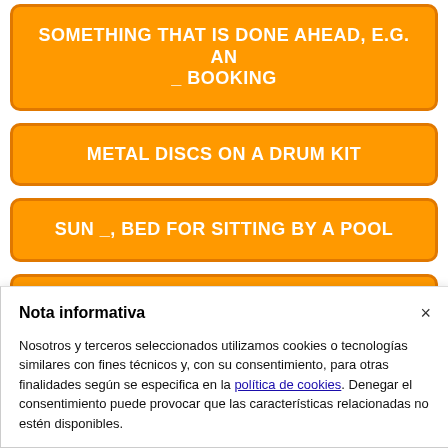SOMETHING THAT IS DONE AHEAD, E.G. AN _ BOOKING
METAL DISCS ON A DRUM KIT
SUN _, BED FOR SITTING BY A POOL
MAYBE A GINGER OR STRAWBERRY BLONDE
Nota informativa
Nosotros y terceros seleccionados utilizamos cookies o tecnologías similares con fines técnicos y, con su consentimiento, para otras finalidades según se especifica en la política de cookies. Denegar el consentimiento puede provocar que las características relacionadas no estén disponibles.